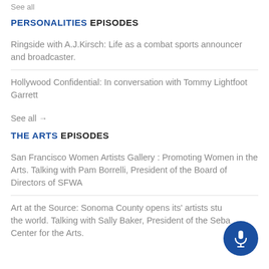See all
PERSONALITIES EPISODES
Ringside with A.J.Kirsch: Life as a combat sports announcer and broadcaster.
Hollywood Confidential: In conversation with Tommy Lightfoot Garrett
See all →
THE ARTS EPISODES
San Francisco Women Artists Gallery : Promoting Women in the Arts. Talking with Pam Borrelli, President of the Board of Directors of SFWA
Art at the Source: Sonoma County opens its' artists studios to the world. Talking with Sally Baker, President of the Sebastopol Center for the Arts.
[Figure (other): Blue circular microphone button icon in bottom right corner]